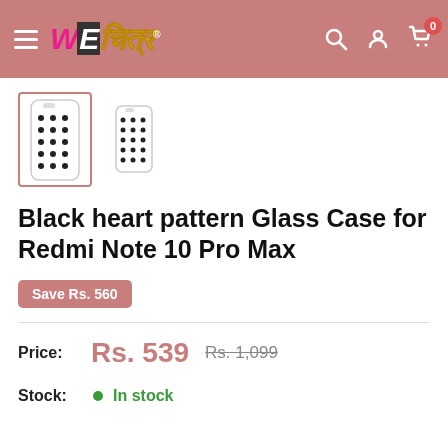WEचित्र
[Figure (photo): Two product thumbnail images of a phone case with black heart/polka dot pattern on white background. First thumbnail has an orange/red border indicating it is selected.]
Black heart pattern Glass Case for Redmi Note 10 Pro Max
Save Rs. 560
Price: Rs. 539  Rs. 1,099
Stock: In stock